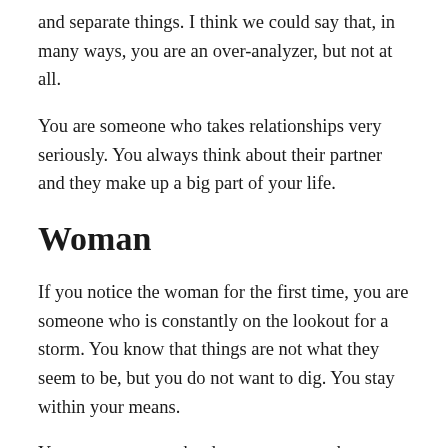and separate things. I think we could say that, in many ways, you are an over-analyzer, but not at all.
You are someone who takes relationships very seriously. You always think about their partner and they make up a big part of your life.
Woman
If you notice the woman for the first time, you are someone who is constantly on the lookout for a storm. You know that things are not what they seem to be, but you do not want to dig. You stay within your means.
You are someone who does not pay much attention to the things around you. You do not think too much and tend to go back more often than really. You may have to work on